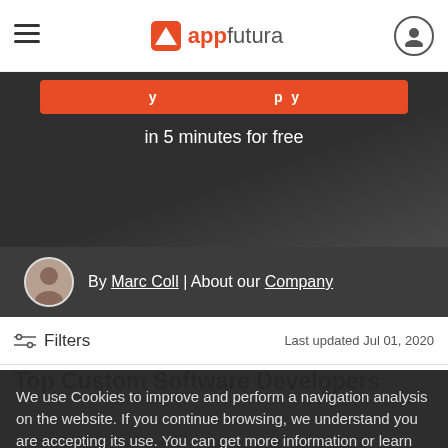appfutura — navigation header with hamburger menu and user icon
[Figure (screenshot): Orange button with partial text visible, part of hero dark section with 'in 5 minutes for free' subtitle]
By Marc Coll | About our Company
Filters   Last updated Jul 01, 2020
Top Custom Software Developers
We use Cookies to improve and perform a navigation analysis on the website. If you continue browsing, we understand you are accepting its use. You can get more information or learn how to change the settings in our Cookies Policy.
Agree   More info